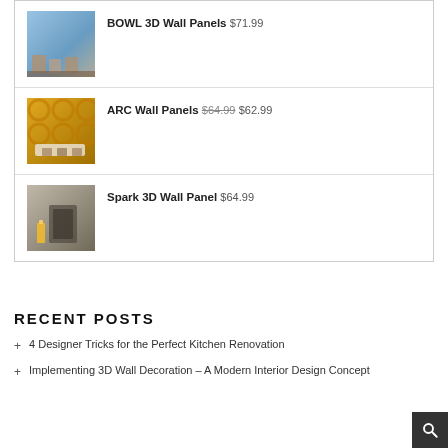[Figure (photo): Product listing: BOWL 3D Wall Panels with blue textured wall panel photo, price $71.99]
BOWL 3D Wall Panels $71.99
[Figure (photo): Product listing: ARC Wall Panels with yellow geometric wall panel photo, price $64.99 sale $62.99]
ARC Wall Panels $64.99 $62.99
[Figure (photo): Product listing: Spark 3D Wall Panel with concrete textured wall panel photo, price $64.99]
Spark 3D Wall Panel $64.99
RECENT POSTS
4 Designer Tricks for the Perfect Kitchen Renovation
Implementing 3D Wall Decoration – A Modern Interior Design Concept